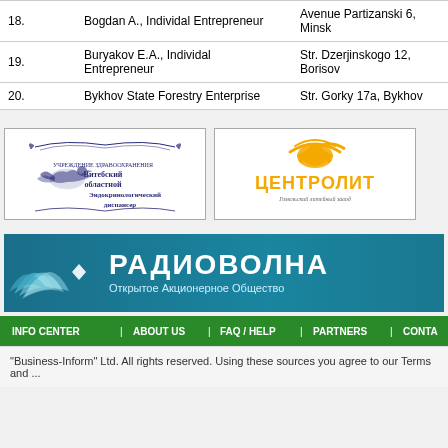| # | Name | Address |
| --- | --- | --- |
| 18. | Bogdan A., Individal Entrepreneur | Avenue Partizanski 6, Minsk |
| 19. | Buryakov E.A., Individal Entrepreneur | Str. Dzerjinskogo 12, Borisov |
| 20. | Bykhov State Forestry Enterprise | Str. Gorky 17a, Bykhov |
[Figure (logo): Vitebsk Regional Endocrinological Dispensary logo with dove and ornamental border]
[Figure (logo): Tsentrolit - Gomelsky liteynyy zavod logo with orange arch/fountain graphic]
[Figure (logo): Radiovolna - Otkrytoye Aktsionernoye Obshchestvo banner with wave design]
INFO CENTER | ABOUT US | FAQ / HELP | PARTNERS | CONTA
"Business-Inform" Ltd. All rights reserved. Using these sources you agree to our Terms and ...